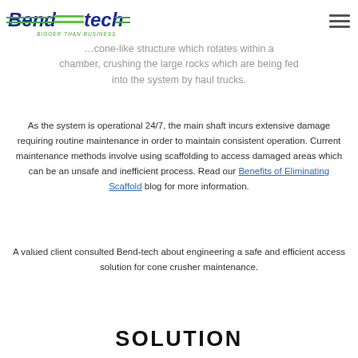Bend-tech — Bigger Than Business [logo + hamburger menu]
sizes.
…cone-like structure which rotates within a chamber, crushing the large rocks which are being fed into the system by haul trucks.
As the system is operational 24/7, the main shaft incurs extensive damage requiring routine maintenance in order to maintain consistent operation. Current maintenance methods involve using scaffolding to access damaged areas which can be an unsafe and inefficient process. Read our Benefits of Eliminating Scaffold blog for more information.
A valued client consulted Bend-tech about engineering a safe and efficient access solution for cone crusher maintenance.
SOLUTION